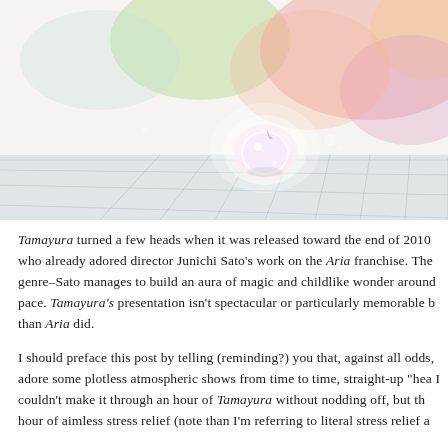[Figure (illustration): Anime-style illustration showing a soft, pastel-colored scene with a glowing white orb/character on a tiled floor surface, surrounded by warm pink, orange, green, and yellow bokeh light effects in the background.]
Tamayura turned a few heads when it was released toward the end of 2010 who already adored director Junichi Sato's work on the Aria franchise. The genre–Sato manages to build an aura of magic and childlike wonder around pace. Tamayura's presentation isn't spectacular or particularly memorable b than Aria did.
I should preface this post by telling (reminding?) you that, against all odds, adore some plotless atmospheric shows from time to time, straight-up "hea I couldn't make it through an hour of Tamayura without nodding off, but th hour of aimless stress relief (note than I'm referring to literal stress relief a